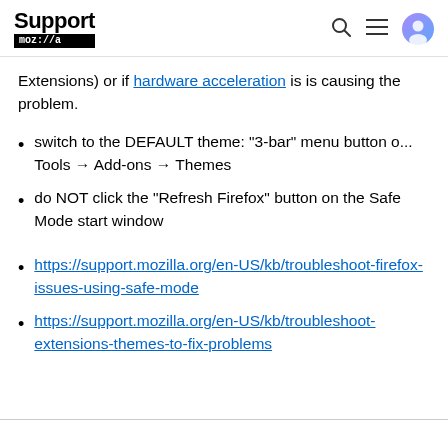Support mozilla://a
Extensions) or if hardware acceleration is is causing the problem.
switch to the DEFAULT theme: "3-bar" menu button o... Tools → Add-ons → Themes
do NOT click the "Refresh Firefox" button on the Safe Mode start window
https://support.mozilla.org/en-US/kb/troubleshoot-firefox-issues-using-safe-mode
https://support.mozilla.org/en-US/kb/troubleshoot-extensions-themes-to-fix-problems